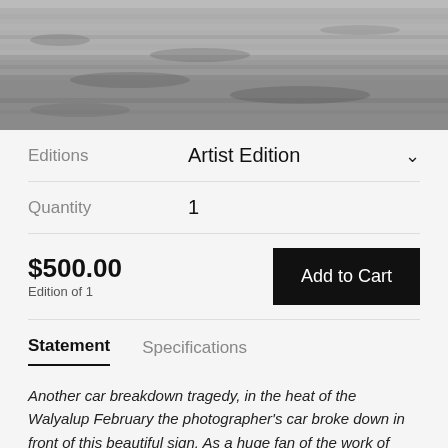[Figure (photo): Black and white photograph of a grassy field or ground texture, cropped at top edge of page]
Editions   Artist Edition
Quantity   1
$500.00   Edition of 1   Add to Cart
Statement
Specifications
Another car breakdown tragedy, in the heat of the Walyalup February the photographer's car broke down in front of this beautiful sign. As a huge fan of the work of Michelle Hamer, a textile-based artist, this was such a great find, this was shot on